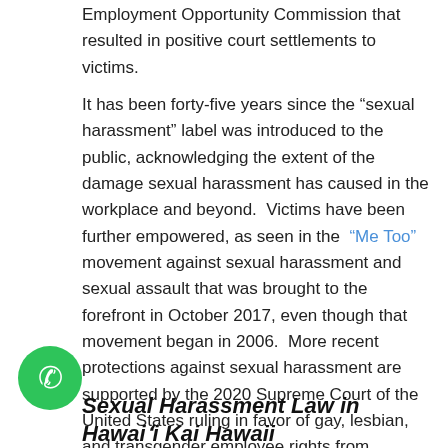Employment Opportunity Commission that resulted in positive court settlements to victims.
It has been forty-five years since the “sexual harassment” label was introduced to the public, acknowledging the extent of the damage sexual harassment has caused in the workplace and beyond. Victims have been further empowered, as seen in the “Me Too” movement against sexual harassment and sexual assault that was brought to the forefront in October 2017, even though that movement began in 2006. More recent protections against sexual harassment are supported by the 2020 Supreme Court of the United States ruling in favor of gay, lesbian, and transgender employee rights from discrimination based on sex under the Civil Rights Act of 1964.
[Figure (other): Green circular phone icon button]
Sexual Harassment Law in Hawaiʻi Kai Hawaii